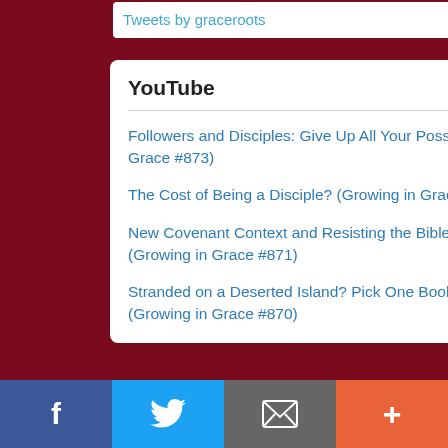Tweets by graceroots
YouTube
Followers and Disciples: Give Up All Your Possessions (Growing in Grace #873)
The Cost of Being a Disciple? (Growing in Grace #872)
New Covenant Context and Resisting the Bible Teacher Fan Club (Growing in Grace #871)
Stranded on a Deserted Island? Pick One Book From the Bible (Growing in Grace #870)
people of this country has e... we see the best possible co...
Is our hope and/or fear to be... to make a case for sitting still... and burying your head in the... how you define it in a politica...
I'm really trying to point out th... and Spirit) created man, God... remained sovereign. He has... everything in it belongs to Hi... never been a king, a preside... been above Him or has been... The fate of the world, on the... every living person since Ada... and evil, but on the other han... God has made redemption a... His mission cannot and will n...
God was still in control when... killed. When the king sent Sh... furnace. When Daniel was th...
f  Twitter  Email  +